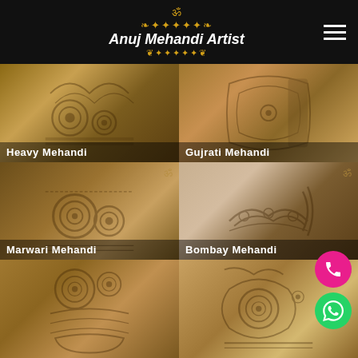Anuj Mehandi Artist
[Figure (photo): Heavy Mehandi - intricate henna design on hands]
[Figure (photo): Gujrati Mehandi - henna design on arm/hand]
[Figure (photo): Marwari Mehandi - detailed henna on two hands]
[Figure (photo): Bombay Mehandi - henna design on hand against dark background]
[Figure (photo): Foot Mehandi design - intricate henna on feet]
[Figure (photo): Bridal Mehandi on hand - detailed henna artwork]